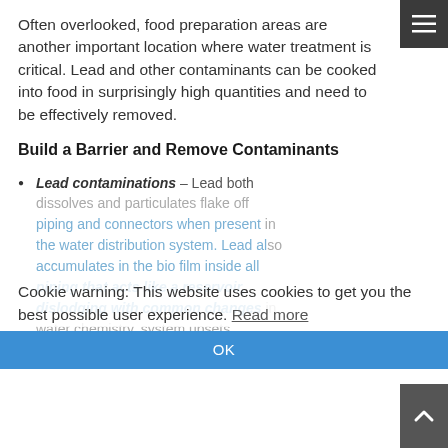Often overlooked, food preparation areas are another important location where water treatment is critical. Lead and other contaminants can be cooked into food in surprisingly high quantities and need to be effectively removed.
Build a Barrier and Remove Contaminants
Lead contaminations – Lead both dissolves and particulates flake off piping and connectors when present in the water distribution system. Lead also accumulates in the bio film inside all piping that acts like a reservoir, dislodging with common changes in water chemistry, system upsets, pressure drops and high velocity
Cookie warning: This website uses cookies to get you the best possible user experience. Read more